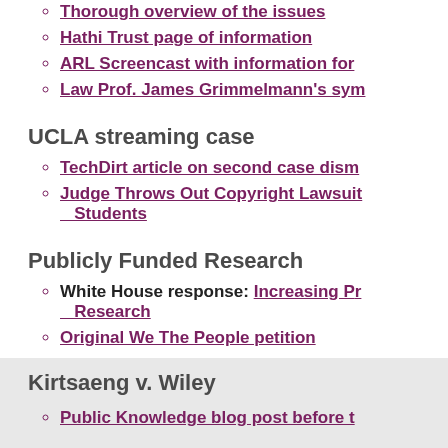Thorough overview of the issues
Hathi Trust page of information
ARL Screencast with information for
Law Prof. James Grimmelmann's sym
UCLA streaming case
TechDirt article on second case dism
Judge Throws Out Copyright Lawsuit … Students
Publicly Funded Research
White House response: Increasing Pr… Research
Original We The People petition
Kirtsaeng v. Wiley
Public Knowledge blog post before t